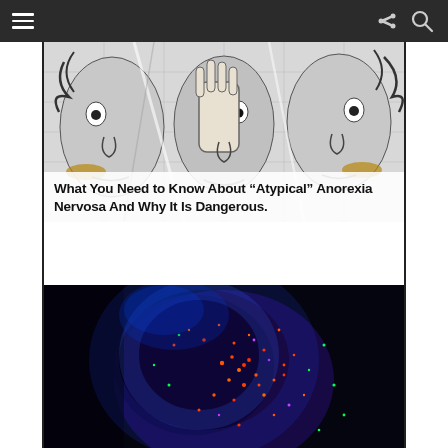Navigation bar with hamburger menu, share icon, and search icon
[Figure (photo): Black and white mural street art showing three fragmented faces with a hand in the center]
What You Need to Know About “Atypical” Anorexia Nervosa And Why It Is Dangerous.
[Figure (photo): Close-up portrait of a person covered in colorful neon glitter under UV/black light, showing blue, orange, red, and green glitter particles against a dark background]